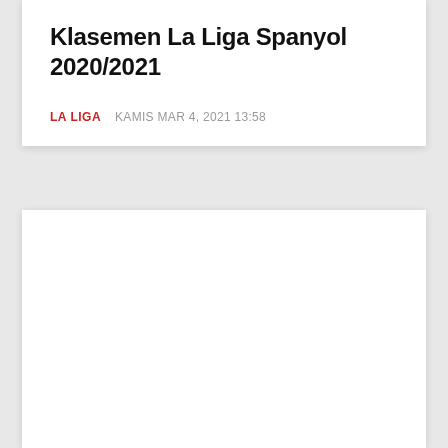Klasemen La Liga Spanyol 2020/2021
LA LIGA   KAMIS MAR 4, 2021 13:58
[Figure (other): Empty white card placeholder area below the article header]